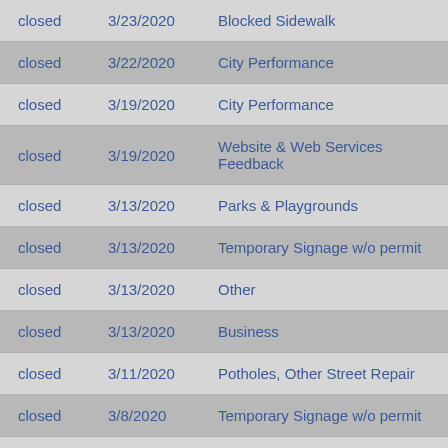| Status | Date | Type |
| --- | --- | --- |
| closed | 3/23/2020 | Blocked Sidewalk |
| closed | 3/22/2020 | City Performance |
| closed | 3/19/2020 | City Performance |
| closed | 3/19/2020 | Website & Web Services Feedback |
| closed | 3/13/2020 | Parks & Playgrounds |
| closed | 3/13/2020 | Temporary Signage w/o permit |
| closed | 3/13/2020 | Other |
| closed | 3/13/2020 | Business |
| closed | 3/11/2020 | Potholes, Other Street Repair |
| closed | 3/8/2020 | Temporary Signage w/o permit |
| closed | 3/8/2020 | Potholes, Other Street Repair |
| closed | 3/6/2020 | Water Quality |